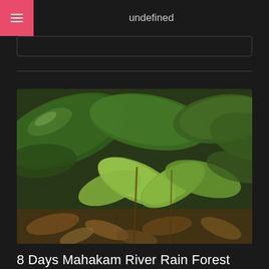undefined
[Figure (photo): Close-up photograph of tropical rainforest floor showing green leaves and plants among brown dead leaves and forest debris, taken in Mahakam River rain forest]
8 Days Mahakam River Rain Forest